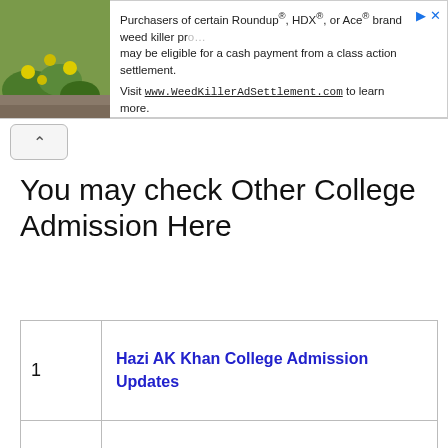[Figure (screenshot): Advertisement banner for WeedKillerAdSettlement.com showing plant image on left and text about Roundup, HDX, or Ace brand weed killer class action settlement on right.]
You may check Other College Admission Here
| 1 | Hazi AK Khan College Admission Updates |
| 2 | Jalangi Mahavidyalaya Admission Updates |
| 3 | Jangipur College Admission Updates |
| 4 | Jatindra Rajendra College Admission |